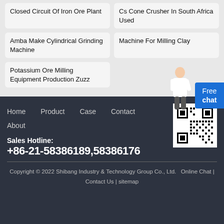Closed Circuit Of Iron Ore Plant
Cs Cone Crusher In South Africa Used
Amba Make Cylindrical Grinding Machine
Machine For Milling Clay
Potassium Ore Milling Equipment Production Zuzz
Free chat
Home   Product   Case   Contact   About
Sales Hotline:
+86-21-58386189,58386176
Copyright © 2022 Shibang Industry & Technology Group Co., Ltd.   Online Chat | Contact Us | sitemap